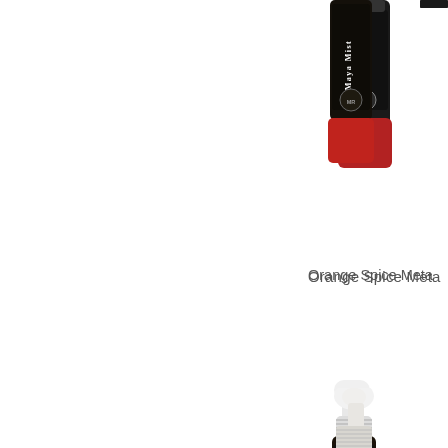[Figure (photo): Partial view of a Maya Mist spray bottle with dark label and red lower portion, cropped at top of page]
Orange Spice Meta
[Figure (photo): Full Maya Mist spray bottle with white pump top and dark label reading 'Maya Mist', red lower portion]
[Figure (photo): Color swatch showing orange spice metallic color — a warm peach/salmon tone with slight shimmer]